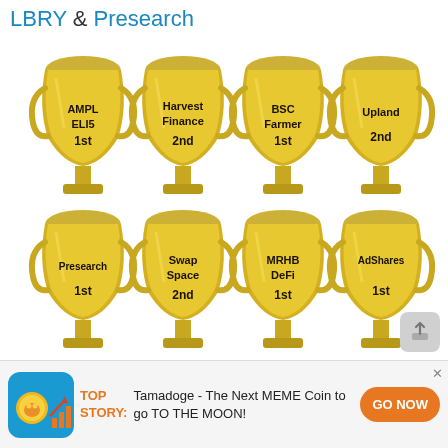LBRY & Presearch
[Figure (illustration): Eight golden trophy cups arranged in two rows of four. Top row trophies labeled: AMPL ELI5 1st, Harvest Finance 2nd, BSC Farmer 1st, Upland 2nd. Bottom row trophies labeled: Presearch 1st, Swap Space 2nd, MRHB DeFi 1st, AdShares 1st.]
TOP STORY: Tamadoge - The Next MEME Coin to go TO THE MOON!
GO NOW